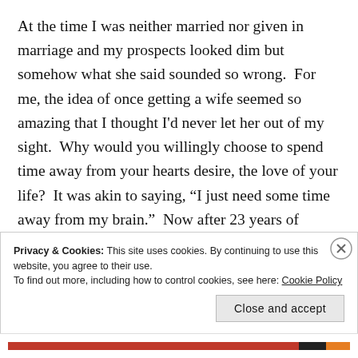At the time I was neither married nor given in marriage and my prospects looked dim but somehow what she said sounded so wrong.  For me, the idea of once getting a wife seemed so amazing that I thought I'd never let her out of my sight.  Why would you willingly choose to spend time away from your hearts desire, the love of your life?  It was akin to saying, "I just need some time away from my brain."  Now after 23 years of marriage, I think I'm right.
Privacy & Cookies: This site uses cookies. By continuing to use this website, you agree to their use.
To find out more, including how to control cookies, see here: Cookie Policy
Close and accept